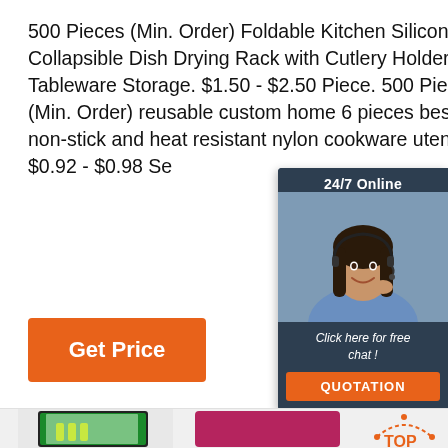500 Pieces (Min. Order) Foldable Kitchen Silicone Collapsible Dish Drying Rack with Cutlery Holder for Tableware Storage. $1.50 - $2.50 Piece. 500 Pieces (Min. Order) reusable custom home 6 pieces best idea non-stick and heat resistant nylon cookware utensil set. $0.92 - $0.98 Se
[Figure (infographic): 24/7 Online live chat widget with a woman wearing a headset, dark slate background, 'Click here for free chat!' text, and an orange QUOTATION button]
[Figure (photo): Bottom section with light gray background, a glass-door refrigerator/display case on the left, and a TOP badge icon on the right]
[Figure (illustration): Orange 'Get Price' button]